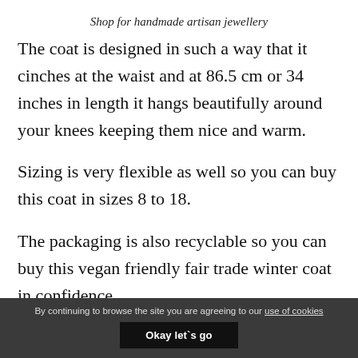Shop for handmade artisan jewellery
The coat is designed in such a way that it cinches at the waist and at 86.5 cm or 34 inches in length it hangs beautifully around your knees keeping them nice and warm.
Sizing is very flexible as well so you can buy this coat in sizes 8 to 18.
The packaging is also recyclable so you can buy this vegan friendly fair trade winter coat in confidence
By continuing to browse the site you are agreeing to our use of cookies
Okay let`s go